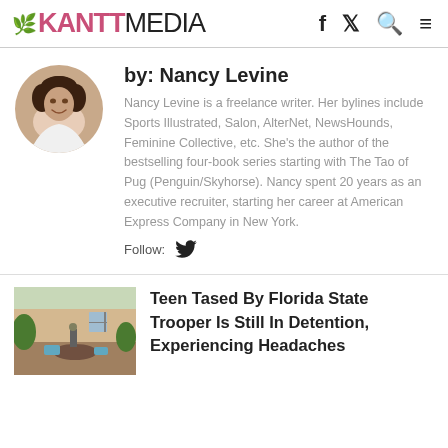RANTMEDIA
[Figure (photo): Circular profile photo of Nancy Levine, a woman with curly dark hair, smiling]
by: Nancy Levine
Nancy Levine is a freelance writer. Her bylines include Sports Illustrated, Salon, AlterNet, NewsHounds, Feminine Collective, etc. She's the author of the bestselling four-book series starting with The Tao of Pug (Penguin/Skyhorse). Nancy spent 20 years as an executive recruiter, starting her career at American Express Company in New York.
Follow:
[Figure (photo): Outdoor scene with patio area, a person standing, furniture visible]
Teen Tased By Florida State Trooper Is Still In Detention, Experiencing Headaches